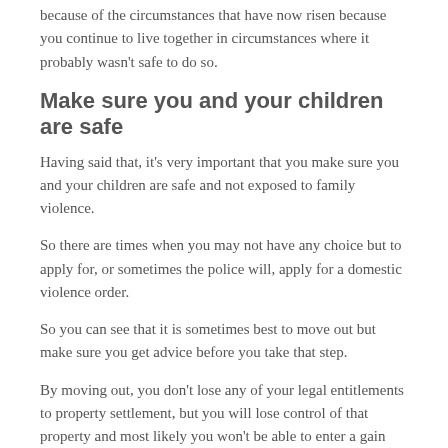because of the circumstances that have now risen because you continue to live together in circumstances where it probably wasn't safe to do so.
Make sure you and your children are safe
Having said that, it's very important that you make sure you and your children are safe and not exposed to family violence.
So there are times when you may not have any choice but to apply for, or sometimes the police will, apply for a domestic violence order.
So you can see that it is sometimes best to move out but make sure you get advice before you take that step.
By moving out, you don't lose any of your legal entitlements to property settlement, but you will lose control of that property and most likely you won't be able to enter a gain unless agreed by your partner.
Get advice first from a Family Law solicitor
So it's best to get advice first from a Family Law solicitor, take